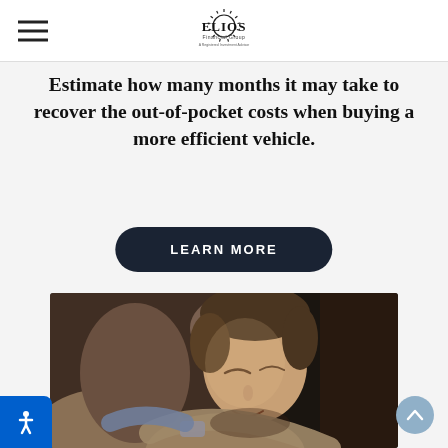ELIOS Financial Group
Estimate how many months it may take to recover the out-of-pocket costs when buying a more efficient vehicle.
LEARN MORE
[Figure (photo): A woman with short hair smiling peacefully while embracing someone, eyes closed, warm emotional moment]